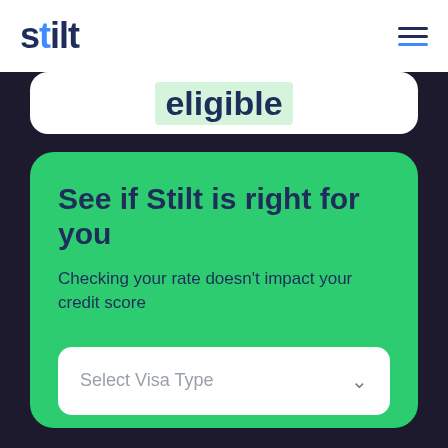stilt
eligible
See if Stilt is right for you
Checking your rate doesn't impact your credit score
Select Visa Type